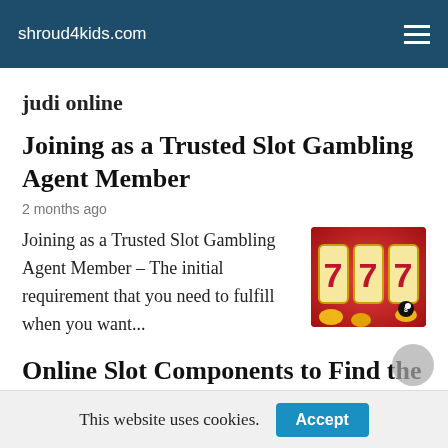shroud4kids.com
judi online
Joining as a Trusted Slot Gambling Agent Member
2 months ago
Joining as a Trusted Slot Gambling Agent Member – The initial requirement that you need to fulfill when you want...
[Figure (photo): Slot machine showing three 7s on a red background with gold coins]
Online Slot Components to Find the
This website uses cookies.